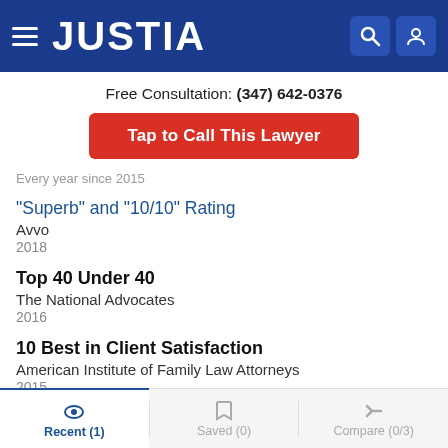JUSTIA
Free Consultation: (347) 642-0376
Tap to Call This Lawyer
Every year since 2015
"Superb" and "10/10" Rating
Avvo
2018
Top 40 Under 40
The National Advocates
2016
10 Best in Client Satisfaction
American Institute of Family Law Attorneys
2015
Recent (1)  Saved (0)  Compare (0/3)